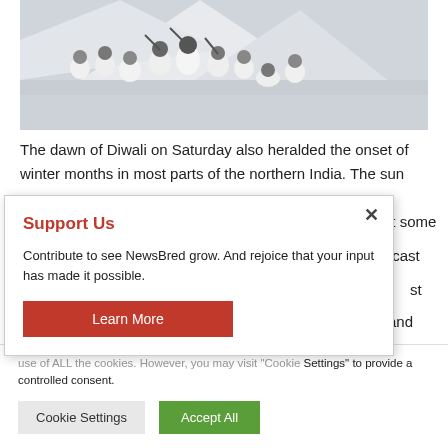[Figure (photo): Group of soldiers in white winter camouflage uniforms posing on a snowy mountain.]
The dawn of Diwali on Saturday also heralded the onset of winter months in most parts of the northern India. The sun [partially obscured] at some [partially obscured] overcast [partially obscured] st [partially obscured] es and [partially obscured] o the
Support Us
Contribute to see NewsBred grow. And rejoice that your input has made it possible.
Learn More
use of ALL the cookies. However, you may visit "Cookie Settings" to provide a controlled consent.
Cookie Settings   Accept All